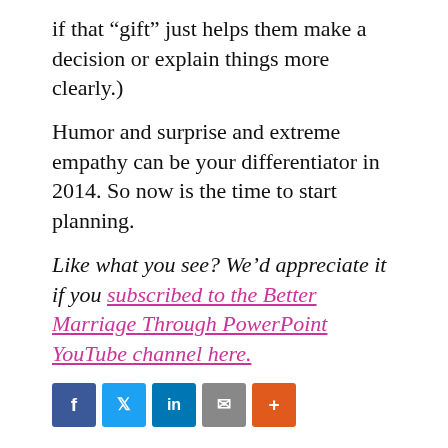if that “gift” just helps them make a decision or explain things more clearly.)
Humor and surprise and extreme empathy can be your differentiator in 2014. So now is the time to start planning.
Like what you see? We’d appreciate it if you subscribed to the Better Marriage Through PowerPoint YouTube channel here.
[Figure (other): Social sharing buttons: Facebook, Twitter, LinkedIn, Email, More (+)]
Filed Under: Annarchy, Business, Content, Social Media, Video
Tagged With: Better Marriage Through PPT, tim washer